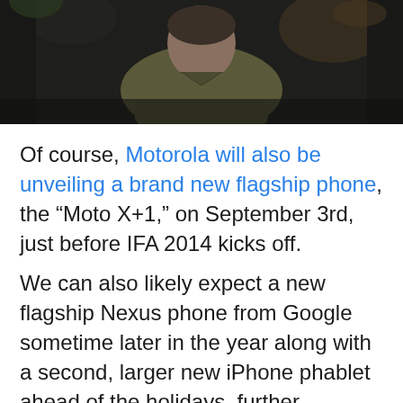[Figure (photo): A person (likely a man) sitting in a dimly lit room, wearing an olive/khaki colored top. The image is dark with warm tones suggesting indoor lighting.]
Of course, Motorola will also be unveiling a brand new flagship phone, the “Moto X+1,” on September 3rd, just before IFA 2014 kicks off.
We can also likely expect a new flagship Nexus phone from Google sometime later in the year along with a second, larger new iPhone phablet ahead of the holidays, further extending the flagship smartphone selection for consumers this holiday season.